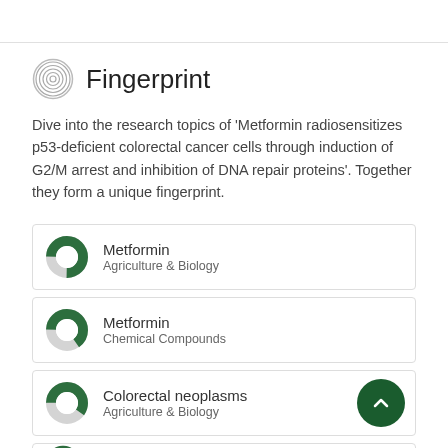Fingerprint
Dive into the research topics of 'Metformin radiosensitizes p53-deficient colorectal cancer cells through induction of G2/M arrest and inhibition of DNA repair proteins'. Together they form a unique fingerprint.
Metformin — Agriculture & Biology
Metformin — Chemical Compounds
Colorectal neoplasms — Agriculture & Biology
(partial, cut off at bottom)